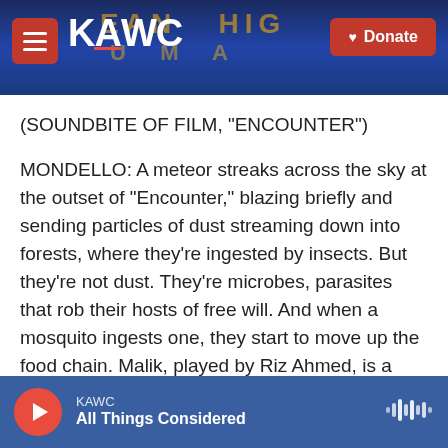KAWC — Donate
(SOUNDBITE OF FILM, "ENCOUNTER")
MONDELLO: A meteor streaks across the sky at the outset of "Encounter," blazing briefly and sending particles of dust streaming down into forests, where they're ingested by insects. But they're not dust. They're microbes, parasites that rob their hosts of free will. And when a mosquito ingests one, they start to move up the food chain. Malik, played by Riz Ahmed, is a decorated Marine trained to assess and minimize risk. But he can't get officialdom to acknowledge the danger. So he's
KAWC — All Things Considered